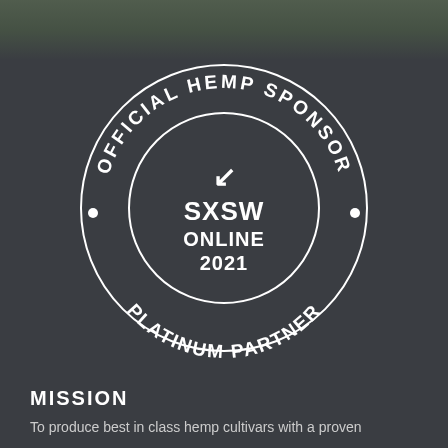[Figure (logo): Circular badge logo: OFFICIAL HEMP SPONSOR · PLATINUM PARTNER · SXSW ONLINE 2021 with arrow icon, white on dark background]
MISSION
To produce best in class hemp cultivars with a proven